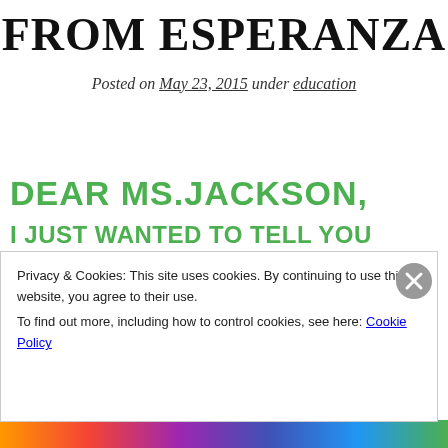FROM ESPERANZA
Posted on May 23, 2015 under education
[Figure (photo): Handwritten letter in green marker on white paper. Salutation: DEAR MS.JACKSON, Body begins: I JUST WANTED TO TELL YOU THAT YOU MEAN ALOT TO ME AND THAT YOU HAVE CHANGED MY LIFE TREMENDESLY. YOU MADE ME DO SOMETHING...]
Privacy & Cookies: This site uses cookies. By continuing to use this website, you agree to their use.
To find out more, including how to control cookies, see here: Cookie Policy
Close and accept